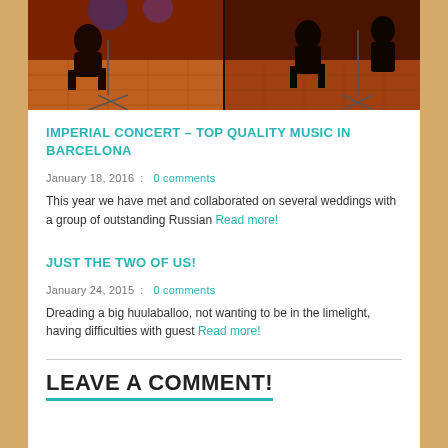[Figure (photo): Concert musicians performing on stage with orange/red dramatic lighting, parquet floor visible, two panels side by side]
IMPERIAL CONCERT – TOP QUALITY MUSIC IN BARCELONA
January 18, 2016  :  0 comments
This year we have met and collaborated on several weddings with a group of outstanding Russian Read more!
JUST THE TWO OF US!
January 24, 2015  :  0 comments
Dreading a big huulaballoo, not wanting to be in the limelight, having difficulties with guest Read more!
LEAVE A COMMENT!